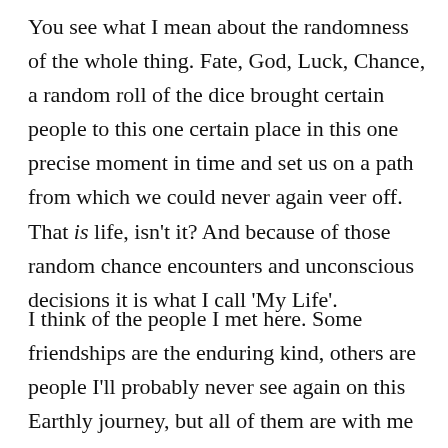You see what I mean about the randomness of the whole thing. Fate, God, Luck, Chance, a random roll of the dice brought certain people to this one certain place in this one precise moment in time and set us on a path from which we could never again veer off. That is life, isn't it? And because of those random chance encounters and unconscious decisions it is what I call 'My Life'.
I think of the people I met here. Some friendships are the enduring kind, others are people I'll probably never see again on this Earthly journey, but all of them are with me in that strange, hard-to-describe